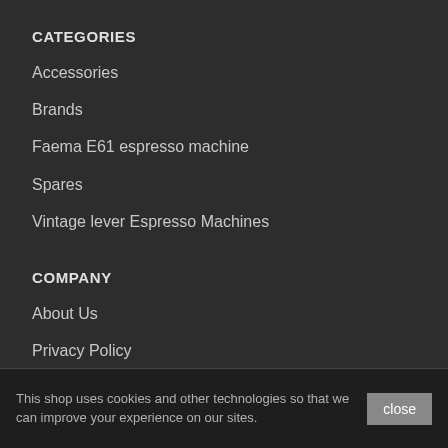CATEGORIES
Accessories
Brands
Faema E61 espresso machine
Spares
Vintage lever Espresso Machines
COMPANY
About Us
Privacy Policy
GDPR Compliance
Contact Us
This shop uses cookies and other technologies so that we can improve your experience on our sites.